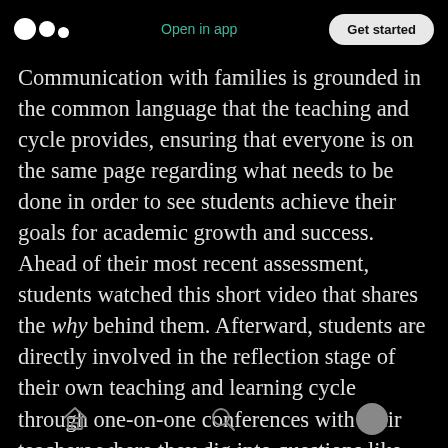Open in app  Get started
Communication with families is grounded in the common language that the teaching and cycle provides, ensuring that everyone is on the same page regarding what needs to be done in order to see students achieve their goals for academic growth and success. Ahead of their most recent assessment, students watched this short video that shares the why behind them. Afterward, students are directly involved in the reflection stage of their own teaching and learning cycle through one-on-one conferences with their teachers where they dig into questions like these:
[home icon] [search icon] [profile icon]